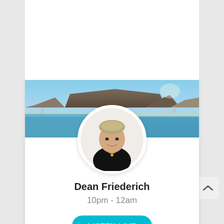[Figure (photo): Aerial panoramic photo of Cape Town with Table Mountain in the background and ocean in the foreground, used as a banner/header image for a radio presenter card]
[Figure (photo): Circular profile photo of Dean Friederich, a young man with light hair wearing a black shirt and gold necklace, smiling]
Dean Friederich
10pm - 12am
LISTEN LIVE